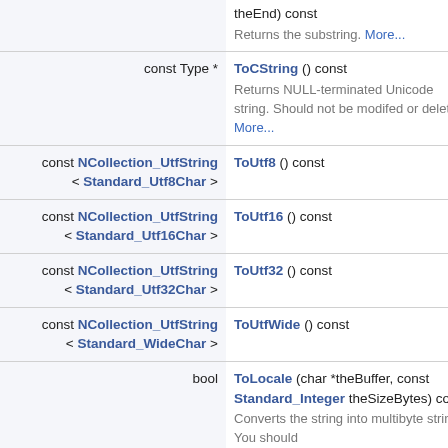| Type | Method |
| --- | --- |
|  | theEnd) const
Returns the substring. More... |
| const Type * | ToCString () const
Returns NULL-terminated Unicode string. Should not be modifed or deleted! More... |
| const NCollection_UtfString < Standard_Utf8Char > | ToUtf8 () const |
| const NCollection_UtfString < Standard_Utf16Char > | ToUtf16 () const |
| const NCollection_UtfString < Standard_Utf32Char > | ToUtf32 () const |
| const NCollection_UtfString < Standard_WideChar > | ToUtfWide () const |
| bool | ToLocale (char *theBuffer, const Standard_Integer theSizeBytes) const
Converts the string into multibyte string. You should |